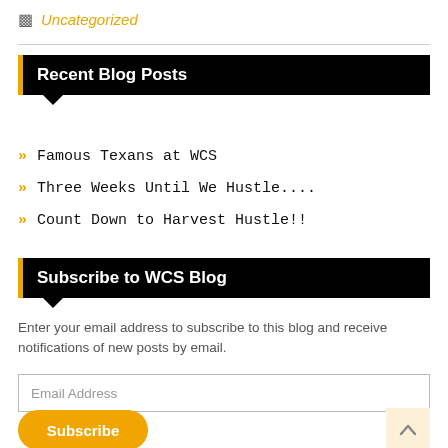Uncategorized
Recent Blog Posts
Famous Texans at WCS
Three Weeks Until We Hustle....
Count Down to Harvest Hustle!!
Subscribe to WCS Blog
Enter your email address to subscribe to this blog and receive notifications of new posts by email.
Email Address
Subscribe